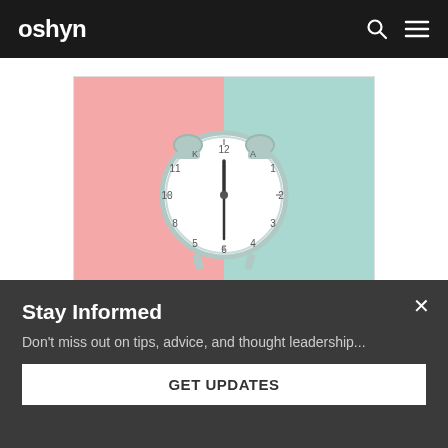oshyn
[Figure (photo): An alarm clock centered on a two-tone background split diagonally between pink (left) and mint green (right). The clock is light mint/grey colored with twin bells on top.]
5 Reasons Why It's Time to Upgrade to Sitecore 10
Stay Informed
Don't miss out on tips, advice, and thought leadership...
GET UPDATES